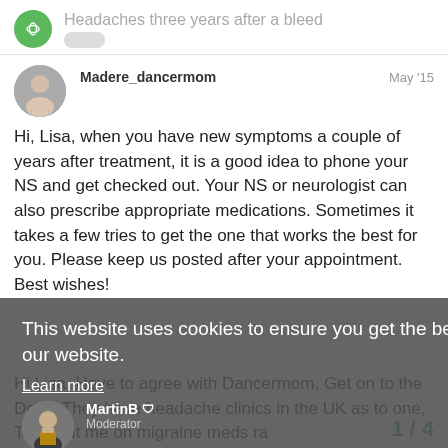Headaches three years after a bleed
Madere_dancermom — May '15
Hi, Lisa, when you have new symptoms a couple of years after treatment, it is a good idea to phone your NS and get checked out. Your NS or neurologist can also prescribe appropriate medications. Sometimes it takes a few tries to get the one that works the best for you. Please keep us posted after your appointment. Best wishes!
This website uses cookies to ensure you get the best experience on our website.
Learn more
MartinB — Moderator — May '15
Got it!
Hi Lisa, Have to agree with Dancermom, Get on to the Docs, They have headache clinics in the UK as to one, They put me on migraine meds ra
1 / 4